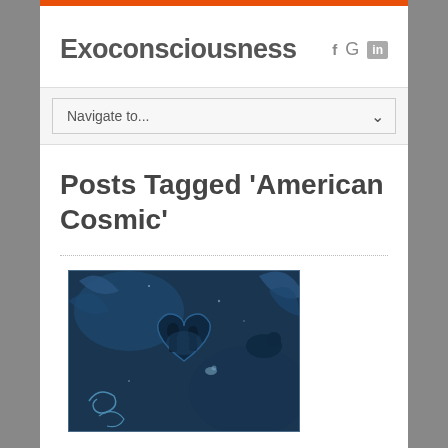Exoconsciousness
Navigate to...
Posts Tagged 'American Cosmic'
[Figure (photo): A dark blue cyanotype-style photo featuring abstract shapes including a heart silhouette with figures inside, decorative swirls, and leaves on a deep blue background.]